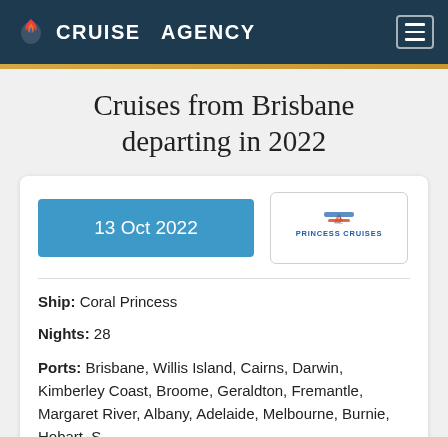CRUISE AGENCY
Cruises from Brisbane departing in 2022
13 Oct 2022
[Figure (logo): Princess Cruises logo with ship icon and text PRINCESS CRUISES in blue]
Ship: Coral Princess
Nights: 28
Ports: Brisbane, Willis Island, Cairns, Darwin, Kimberley Coast, Broome, Geraldton, Fremantle, Margaret River, Albany, Adelaide, Melbourne, Burnie, Hobart, S